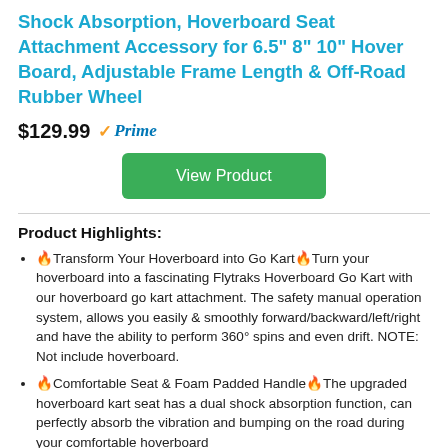Shock Absorption, Hoverboard Seat Attachment Accessory for 6.5" 8" 10" Hover Board, Adjustable Frame Length & Off-Road Rubber Wheel
$129.99 Prime
View Product
Product Highlights:
🔥Transform Your Hoverboard into Go Kart🔥Turn your hoverboard into a fascinating Flytraks Hoverboard Go Kart with our hoverboard go kart attachment. The safety manual operation system, allows you easily & smoothly forward/backward/left/right and have the ability to perform 360° spins and even drift. NOTE: Not include hoverboard.
🔥Comfortable Seat & Foam Padded Handle🔥The upgraded hoverboard kart seat has a dual shock absorption function, can perfectly absorb the vibration and bumping on the road during your comfortable hoverboard